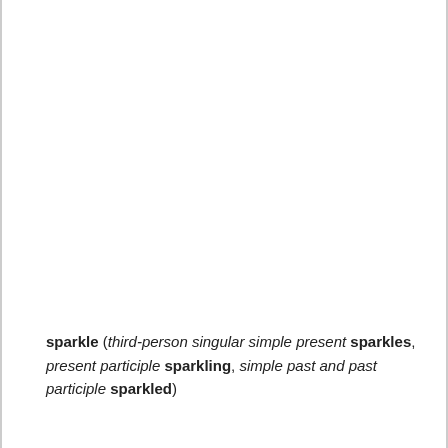sparkle (third-person singular simple present sparkles, present participle sparkling, simple past and past participle sparkled)